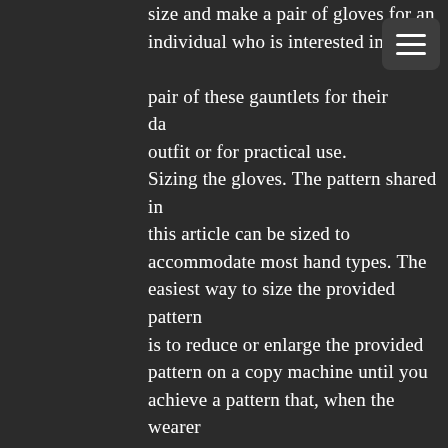size and make a pair of gloves for an individual who is interested in making a pair of these gauntlets for their daytime outfit or for practical use. Sizing the gloves. The pattern shared in this article can be sized to accommodate most hand types. The easiest way to size the provided pattern is to reduce or enlarge the provided pattern on a copy machine until you achieve a pattern that, when the wearer places their hand over the pattern, provides a “generally” good fit, some customizing adjustments like finger length are easy to make. However, all hands are shaped differently and if you are looking for a truly custom fit, here are some instructions on how to measure and create your own pattern. A